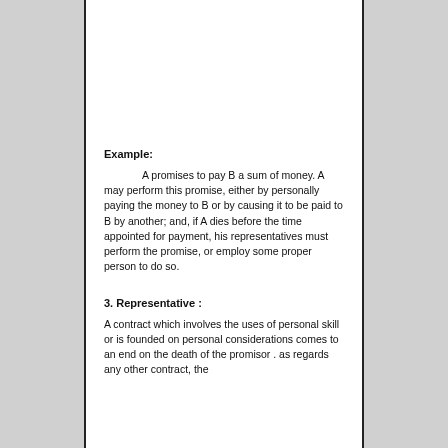Example:
A promises to pay B a sum of money. A may perform this promise, either by personally paying the money to B or by causing it to be paid to B by another; and, if A dies before the time appointed for payment, his representatives must perform the promise, or employ some proper person to do so.
3. Representative :
A contract which involves the uses of personal skill or is founded on personal considerations comes to an end on the death of the promisor . as regards any other contract, the